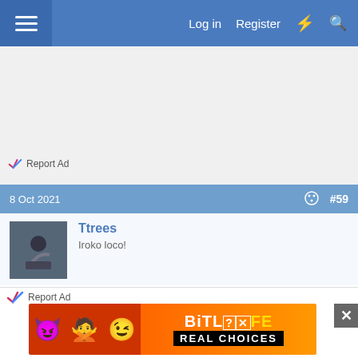Log in  Register
[Figure (other): Advertisement banner area (gray background)]
Report Ad
8 Oct 2021   #59
Ttrees
Iroko loco!
Yes Jacob, I have a mock up of something which would likely do the same thing, and explode.
That was a DIY solution for fun, now I have a welder (forty pound for the cheapest welder in Liddles)
Report Ad
[Figure (screenshot): BitLife REAL CHOICES advertisement banner with emoji characters on red/orange background]